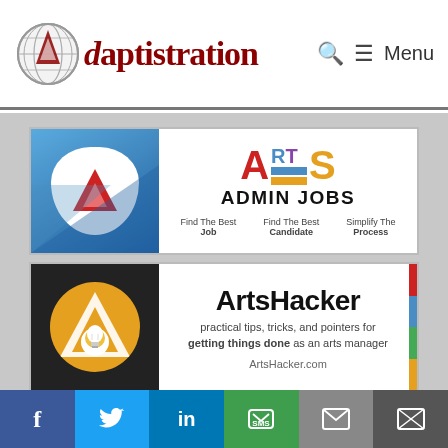[Figure (logo): Adaptistration logo with globe and text, plus search icon and Menu navigation]
[Figure (illustration): Arts Admin Jobs banner advertisement with colorful ARTS logo and taglines: Find The Best Job, Find The Best Candidate, Simplify The Process]
[Figure (illustration): ArtsHacker banner advertisement with lightbulb logo, text 'practical tips, tricks, and pointers for getting things done as an arts manager', and ArtsHacker.com URL]
[Figure (infographic): Social sharing bar with icons for Facebook, Twitter, LinkedIn, SMS, email (two icons)]